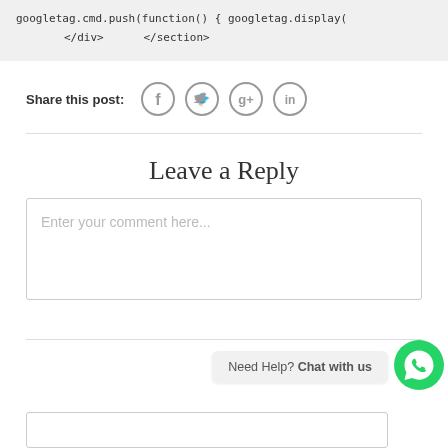googletag.cmd.push(function() { googletag.display(
    </div>      </section>
Share this post:
[Figure (illustration): Social media share icons: Facebook, Twitter, Google+, LinkedIn]
Leave a Reply
Enter your comment here...
Need Help? Chat with us
[Figure (illustration): WhatsApp chat button icon (green circle with phone/chat symbol)]